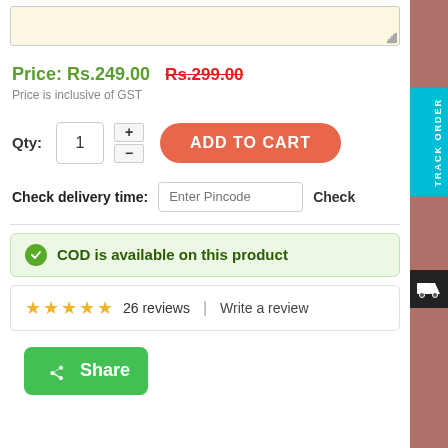Price: Rs.249.00 Rs.299.00
Price is inclusive of GST
Qty: 1 + - ADD TO CART
Check delivery time: Enter Pincode Check
COD is available on this product
★★★★★ 26 reviews | Write a review
Share